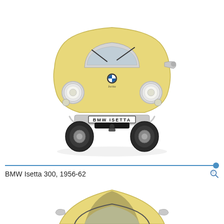[Figure (photo): Front view of a yellow BMW Isetta 300 microcar on a white background, showing the front door, BMW logo, round headlights, and a license plate reading 'BMW ISETTA'. Two windshield wipers are visible.]
BMW Isetta 300, 1956-62
[Figure (photo): Partial top/rear view of a yellow BMW Isetta 300 microcar, cropped at the bottom of the page.]